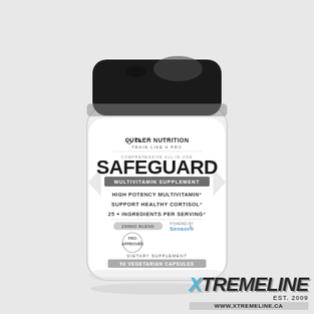[Figure (photo): Product photo of Cutler Nutrition SAFEGUARD comprehensive all-in-one multivitamin supplement bottle. White cylindrical container with black cap. Label shows: Cutler Nutrition TRAIN LIKE A PRO, SAFEGUARD, COMPREHENSIVE ALL-IN-ONE MULTIVITAMIN SUPPLEMENT, HIGH POTENCY MULTIVITAMIN+, SUPPORT HEALTHY CORTISOL+, 25+ INGREDIENTS PER SERVING+, PRO APPROVED, Powered by Sensoril, DIETARY SUPPLEMENT, 90 VEGETARIAN CAPSULES.]
[Figure (logo): XTREMELINE logo with EST. 2009 and www.xtremeline.ca URL banner. Bottom right of page.]